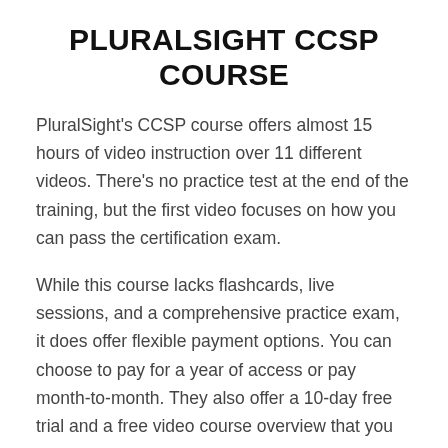PLURALSIGHT CCSP COURSE
PluralSight's CCSP course offers almost 15 hours of video instruction over 11 different videos. There's no practice test at the end of the training, but the first video focuses on how you can pass the certification exam.
While this course lacks flashcards, live sessions, and a comprehensive practice exam, it does offer flexible payment options. You can choose to pay for a year of access or pay month-to-month. They also offer a 10-day free trial and a free video course overview that you can watch before you decide to sign up.